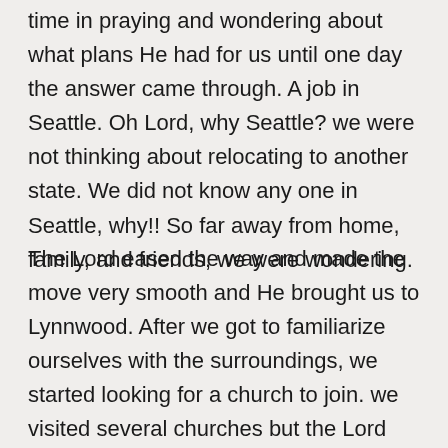time in praying and wondering about what plans He had for us until one day the answer came through. A job in Seattle. Oh Lord, why Seattle? we were not thinking about relocating to another state. We did not know any one in Seattle, why!! So far away from home, family, and friends, we were wondering.
The Lord eased the way and made the move very smooth and He brought us to Lynnwood. After we got to familiarize ourselves with the surroundings, we started looking for a church to join. we visited several churches but the Lord lead us to Meadowdale Baptist Church, (MBC) where we felt the Spirit of the Lord, and felt very welcomed by the wonderful family of MBC. We started getting involved in the church activities, but we